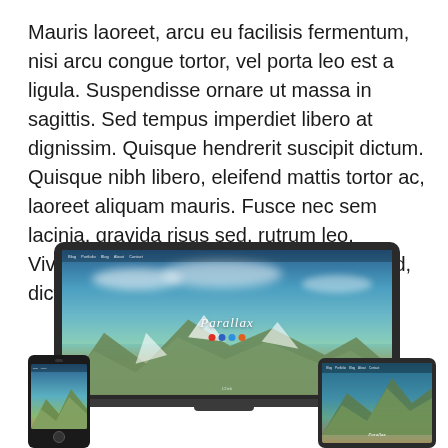Mauris laoreet, arcu eu facilisis fermentum, nisi arcu congue tortor, vel porta leo est a ligula. Suspendisse ornare ut massa in sagittis. Sed tempus imperdiet libero at dignissim. Quisque hendrerit suscipit dictum. Quisque nibh libero, eleifend mattis tortor ac, laoreet aliquam mauris. Fusce nec sem lacinia, gravida risus sed, rutrum leo. Vivamus turpis est, laoreet et convallis sed, dictum a massa.
[Figure (illustration): Responsive web design mockup showing a website called 'Parallax' displayed on multiple devices: a laptop in the center with a mountain/sky landscape background, a smartphone on the lower left, and a tablet on the lower right. The website shows a parallax-style design with mountains, sky, and social media icons.]